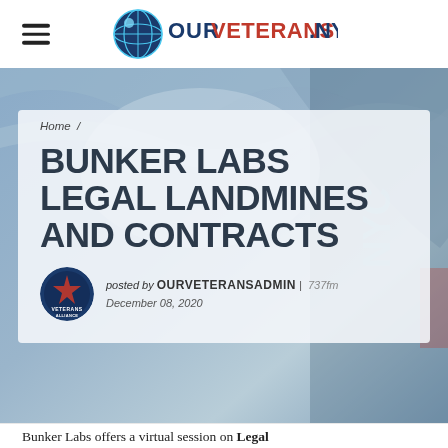OurVeterans.NYC
Home /
BUNKER LABS LEGAL LANDMINES AND CONTRACTS
posted by OURVETERANSADMIN | 737fm
December 08, 2020
Bunker Labs offers a virtual session on Legal